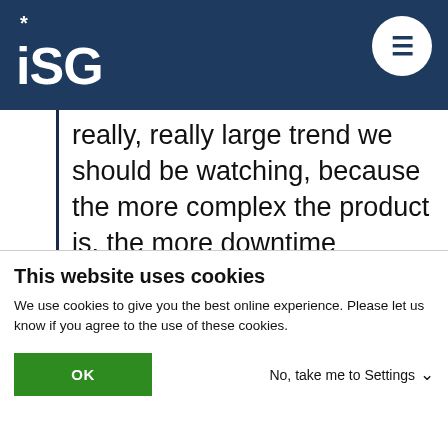ISG
really, really large trend we should be watching, because the more complex the product is, the more downtime becomes precious, so you know should be avoided. So, think about product-as-a-service. Think about if that product-as-a-service is connected and suddenly imagine having a digital twin of that product on your dashboard so that you can do
This website uses cookies
We use cookies to give you the best online experience. Please let us know if you agree to the use of these cookies.
OK
No, take me to Settings